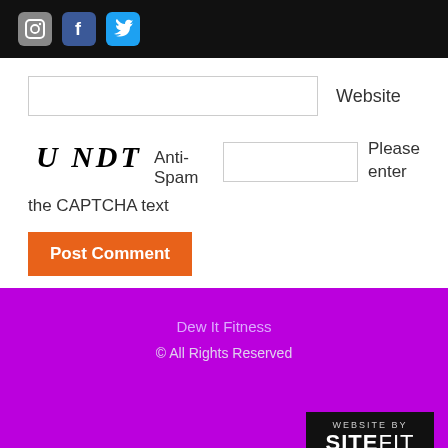[Figure (screenshot): Top black navigation bar with Instagram, Facebook, and Twitter social media icons]
[Figure (other): Website URL text input field with label 'Website']
[Figure (other): CAPTCHA image showing 'UNDT' text in stylized font, Anti-Spam label, CAPTCHA input field, and 'Please enter the CAPTCHA text' instruction]
[Figure (other): Orange 'Post Comment' button]
Dew It Fitness © All Rights Reserved WEBSITE BY SITEFIT